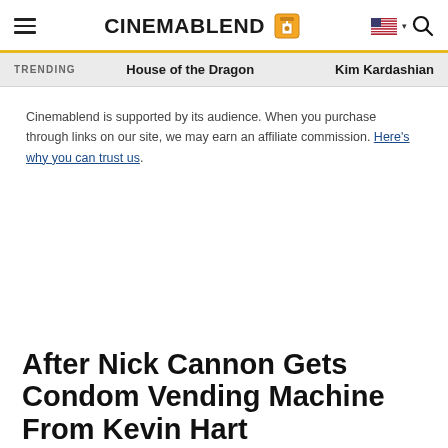CinemaBlend
TRENDING  House of the Dragon  Kim Kardashian
Cinemablend is supported by its audience. When you purchase through links on our site, we may earn an affiliate commission. Here's why you can trust us.
After Nick Cannon Gets Condom Vending Machine From Kevin Hart